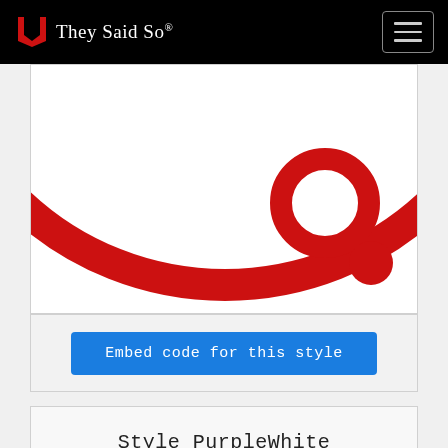They Said So®
[Figure (illustration): Partial view of a red circular logo/graphic with a large ring, a smaller ring, and a small filled circle, on white background.]
Embed code for this style
Style PurpleWhite